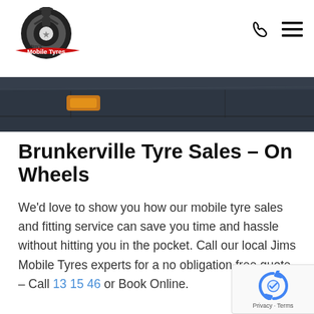[Figure (logo): Jim's Mobile Tyres logo — circular tire graphic with a man figure and red swoosh text]
[Figure (photo): Dark navy/gray vehicle panel or truck body, close-up hero image band]
Brunkerville Tyre Sales – On Wheels
We'd love to show you how our mobile tyre sales and fitting service can save you time and hassle without hitting you in the pocket. Call our local Jims Mobile Tyres experts for a no obligation free quote – Call 13 15 46 or Book Online.
Beginning…